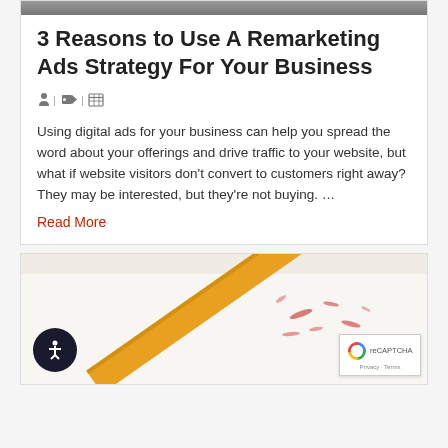[Figure (photo): Top portion of a photo visible at the very top of the page, appears to be a dark/grey banner image]
3 Reasons to Use A Remarketing Ads Strategy For Your Business
[Figure (infographic): Meta icons row: person icon, separator, tag icon, separator, grid/calendar icon]
Using digital ads for your business can help you spread the word about your offerings and drive traffic to your website, but what if website visitors don't convert to customers right away? They may be interested, but they're not buying. …
Read More
[Figure (photo): Photo of a yellow pencil eraser erasing red marks on white paper, bottom portion of page]